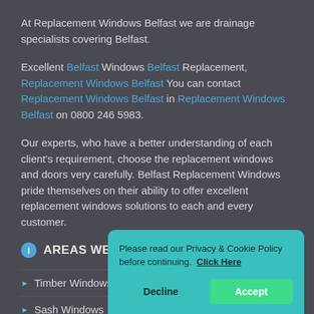At Replacement Windows Belfast we are drainage specialists covering Belfast.
Excellent Belfast Windows Belfast Replacement, Replacement Windows Belfast You can contact Replacement Windows Belfast in Replacement Windows Belfast on 0800 246 5983.
Our experts, who have a better understanding of each client's requirement, choose the replacement windows and doors very carefully. Belfast Replacement Windows pride themselves on their ability to offer excellent replacement windows solutions to each and every customer.
AREAS WE COVER
Timber Windows
Sash Windows
Please read our Privacy & Cookie Policy before continuing. Click Here
Decline
Accept